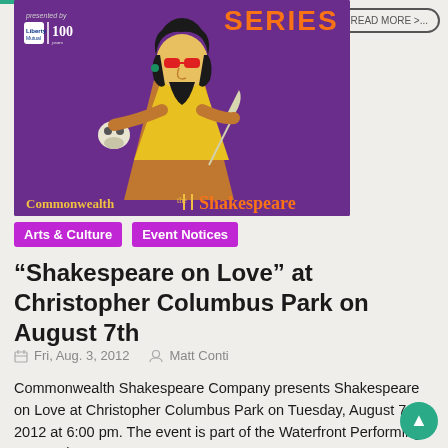[Figure (illustration): Commonwealth Shakespeare Company promotional banner on purple background. Features a stylized illustration of Shakespeare wearing red sunglasses, holding a skull, dressed in orange and yellow. Top left shows 'presented by Liberty Mutual Insurance 100 years' logo. Top right shows 'SERIES' in orange text. Bottom shows 'Commonwealth the Shakespeare' text.]
Arts & Culture
Event Notices
“Shakespeare on Love” at Christopher Columbus Park on August 7th
Fri, Aug. 3, 2012   Matt Conti
Commonwealth Shakespeare Company presents Shakespeare on Love at Christopher Columbus Park on Tuesday, August 7, 2012 at 6:00 pm. The event is part of the Waterfront Performing Arts Series.